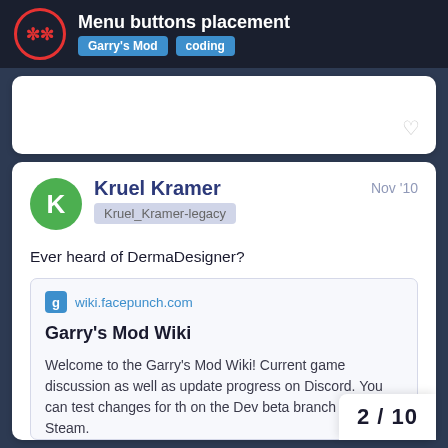Menu buttons placement | Garry's Mod | coding
Ever heard of DermaDesigner?
[Figure (screenshot): Embedded link card showing wiki.facepunch.com — Garry's Mod Wiki. Welcome to the Garry's Mod Wiki! Current game discussion as well as update progress on Discord. You can test changes for the on the Dev beta branch through Steam.]
2 / 10